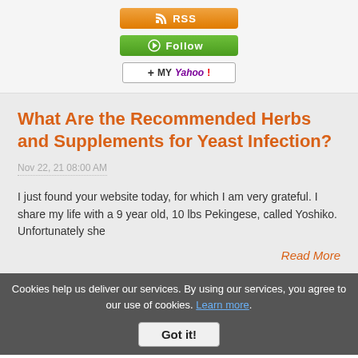[Figure (other): RSS subscription button - orange gradient button with RSS icon and text 'RSS']
[Figure (other): Follow button - green gradient button with follow icon and text 'Follow']
[Figure (other): My Yahoo button - white button with plus icon and Yahoo logo text]
What Are the Recommended Herbs and Supplements for Yeast Infection?
Nov 22, 21 08:00 AM
I just found your website today, for which I am very grateful. I share my life with a 9 year old, 10 lbs Pekingese, called Yoshiko. Unfortunately she
Read More
Cookies help us deliver our services. By using our services, you agree to our use of cookies. Learn more.
Got it!